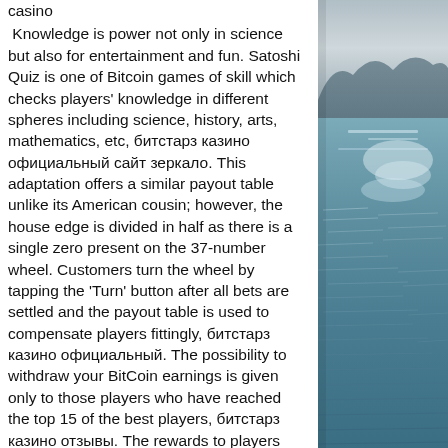casino
Knowledge is power not only in science but also for entertainment and fun. Satoshi Quiz is one of Bitcoin games of skill which checks players' knowledge in different spheres including science, history, arts, mathematics, etc, битстарз казино официальный сайт зеркало. This adaptation offers a similar payout table unlike its American cousin; however, the house edge is divided in half as there is a single zero present on the 37-number wheel. Customers turn the wheel by tapping the 'Turn' button after all bets are settled and the payout table is used to compensate players fittingly, битстарз казино официальный. The possibility to withdraw your BitCoin earnings is given only to those players who have reached the top 15 of the best players, битстарз казино отзывы. The rewards to players are quite impressive since the first prize is equal to 57 mBTC. His army of AI agents takes care of
[Figure (photo): Photograph of a lake or sea with blue water, gentle ripples and waves, and mountains or hills in the distant background under a hazy sky.]